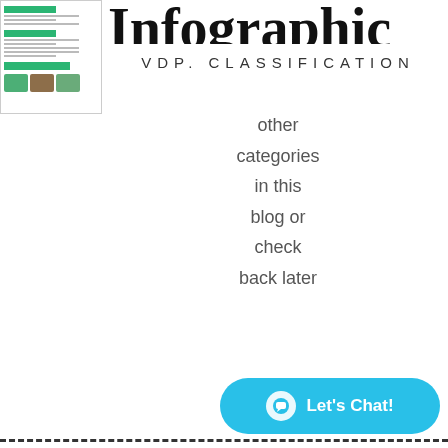[Figure (screenshot): Small thumbnail of a document/infographic page showing green header bars, text lines, and images at the bottom]
Infographic (partially visible, clipped at right edge)
VDP. CLASSIFICATION
other categories in this blog or check back later
[Figure (other): Let's Chat button - a cyan rounded rectangle with chat icon and text 'Let's Chat!']